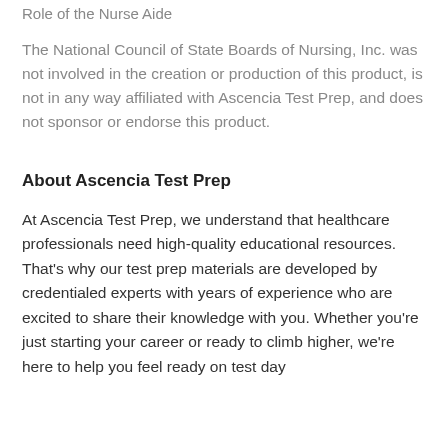Role of the Nurse Aide
The National Council of State Boards of Nursing, Inc. was not involved in the creation or production of this product, is not in any way affiliated with Ascencia Test Prep, and does not sponsor or endorse this product.
About Ascencia Test Prep
At Ascencia Test Prep, we understand that healthcare professionals need high-quality educational resources. That's why our test prep materials are developed by credentialed experts with years of experience who are excited to share their knowledge with you. Whether you're just starting your career or ready to climb higher, we're here to help you feel ready on test day